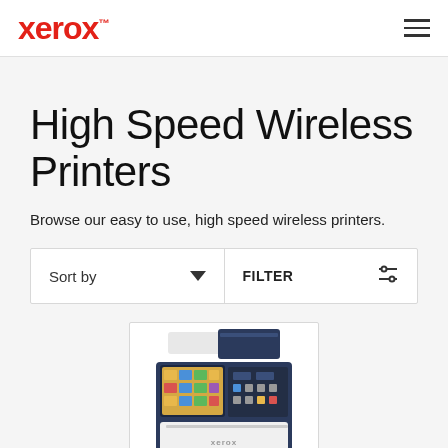xerox™
High Speed Wireless Printers
Browse our easy to use, high speed wireless printers.
Sort by   FILTER
[Figure (photo): A Xerox multifunction printer (VersaLink series) shown in a product card — dark navy and white body with a touchscreen control panel and document feeder on top.]